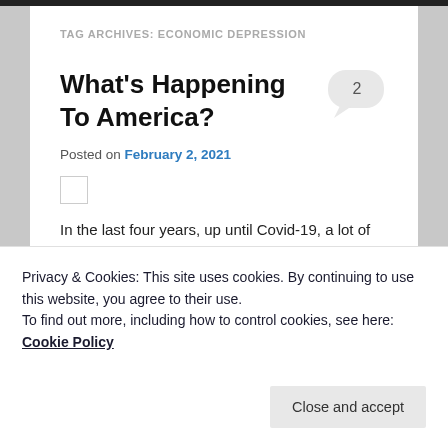TAG ARCHIVES: ECONOMIC DEPRESSION
What's Happening To America?
Posted on February 2, 2021
In the last four years, up until Covid-19, a lot of good has been happening in America. But now, since we have a new president and a new administration, I see nothing
Privacy & Cookies: This site uses cookies. By continuing to use this website, you agree to their use.
To find out more, including how to control cookies, see here: Cookie Policy